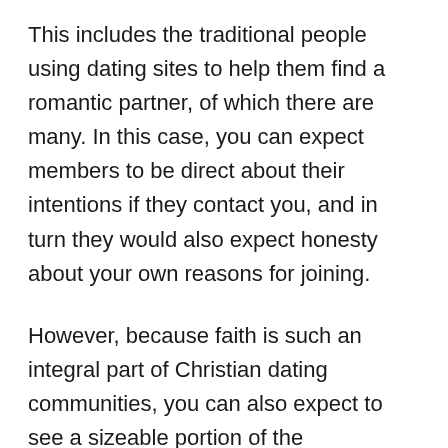This includes the traditional people using dating sites to help them find a romantic partner, of which there are many. In this case, you can expect members to be direct about their intentions if they contact you, and in turn they would also expect honesty about your own reasons for joining.
However, because faith is such an integral part of Christian dating communities, you can also expect to see a sizeable portion of the membership interested in meeting people for other reasons beyond dating.
This is why communication is key for online Christian dating.